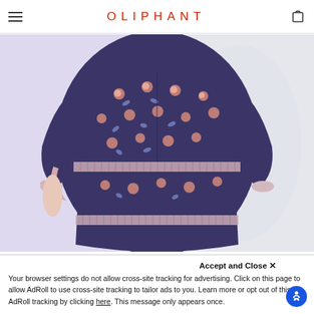OLIPHANT
[Figure (photo): Back view of a model wearing a navy blue floral print dress with pink roses and light blue leaf motifs, featuring lace/crochet trim at waist and hem, long balloon sleeves.]
Accept and Close ×
Your browser settings do not allow cross-site tracking for advertising. Click on this page to allow AdRoll to use cross-site tracking to tailor ads to you. Learn more or opt out of this AdRoll tracking by clicking here. This message only appears once.